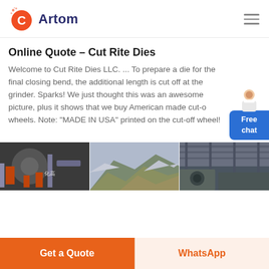Artom
Online Quote – Cut Rite Dies
Welcome to Cut Rite Dies LLC. ... To prepare a die for the final closing bend, the additional length is cut off at the grinder. Sparks! We just thought this was an awesome picture, plus it shows that we buy American made cut-off wheels. Note: "MADE IN USA" printed on the cut-off wheel!
[Figure (photo): Three side-by-side photos of industrial/mining equipment and landscapes]
Get a Quote
WhatsApp